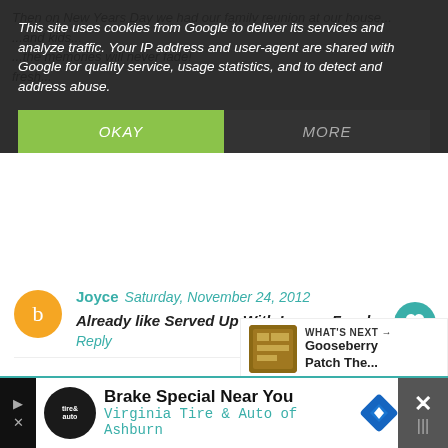This site uses cookies from Google to deliver its services and analyze traffic. Your IP address and user-agent are shared with Google for quality service, usage statistics, and to detect and address abuse.
OKAY
MORE
Joyce  Saturday, November 24, 2012
Already like Served Up With Love o Facebook!
Reply
Joyce  Saturday, November 24, 2012
Already like Gooseberry Patch on FB
Reply
[Figure (screenshot): What's Next panel showing Gooseberry Patch thumbnail and text]
[Figure (screenshot): Ad banner: Brake Special Near You - Virginia Tire & Auto of Ashburn]